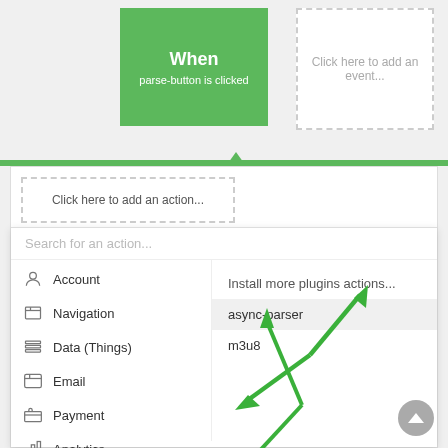[Figure (screenshot): Screenshot of a Bubble.io workflow editor showing a 'When parse-button is clicked' event block in green, a dashed 'Click here to add an event...' box, a 'Click here to add an action...' action box, and a dropdown menu open with category list (Account, Navigation, Data (Things), Email, Payment, Analytics, Element Actions, Plugins, Custom Events) on the left and plugin options (Install more plugins actions..., async-parser, m3u8) on the right. Green arrows point to 'Plugins' in the left menu and to 'async-parser' in the right menu.]